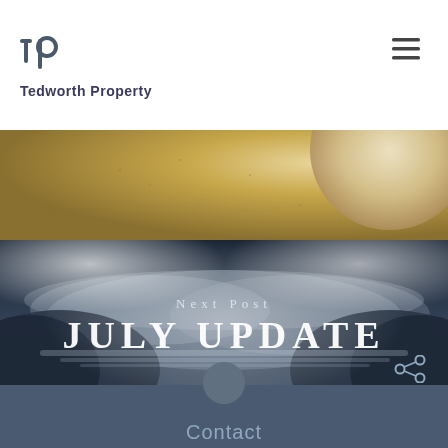[Figure (logo): Tedworth Property logo with stylized 'tp' lettermark above the text 'Tedworth Property']
[Figure (photo): Sandy/golden textured background strip with a partial circular light-colored shape on the right]
[Figure (photo): Football stadium at night with floodlights, soccer goal in foreground, green pitch, dramatic clouds. Overlaid text: 'Next Post' and 'JULY UPDATE']
Next Post
JULY UPDATE
Contact